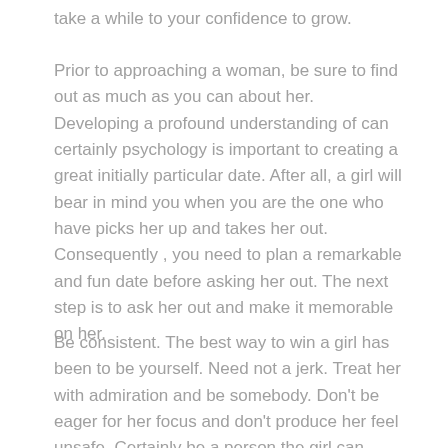take a while to your confidence to grow.
Prior to approaching a woman, be sure to find out as much as you can about her. Developing a profound understanding of can certainly psychology is important to creating a great initially particular date. After all, a girl will bear in mind you when you are the one who have picks her up and takes her out. Consequently , you need to plan a remarkable and fun date before asking her out. The next step is to ask her out and make it memorable on her.
Be consistent. The best way to win a girl has been to be yourself. Need not a jerk. Treat her with admiration and be somebody. Don't be eager for her focus and don't produce her feel unsafe. Certainly be a person the girl can always count on. Don't forget to place her